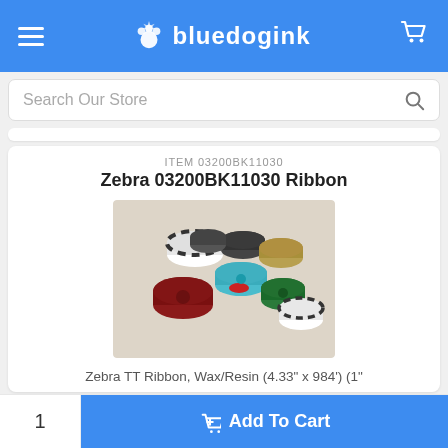bluedogink
Search Our Store
ITEM 03200BK11030
Zebra 03200BK11030 Ribbon
[Figure (photo): Multiple thermal transfer ribbon rolls of various colors (black, red, dark green, black/white striped) arranged in a group]
Zebra TT Ribbon, Wax/Resin (4.33" x 984') (1"
1
Add To Cart